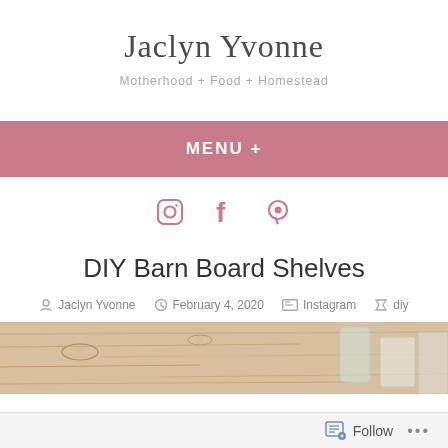Jaclyn Yvonne
Motherhood + Food + Homestead
MENU +
[Figure (other): Social media icons: Instagram, Facebook, Pinterest in dusty rose/pink color]
DIY Barn Board Shelves
Jaclyn Yvonne  February 4, 2020  Instagram  diy
[Figure (photo): Top portion of a wooden barn board shelf with rustic wood grain texture, with glass jars and ceramic items visible in background]
Follow  ...